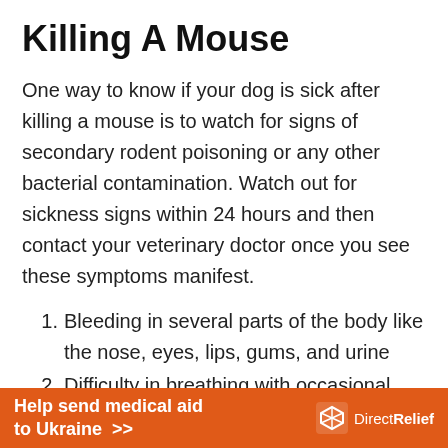Killing A Mouse
One way to know if your dog is sick after killing a mouse is to watch for signs of secondary rodent poisoning or any other bacterial contamination. Watch out for sickness signs within 24 hours and then contact your veterinary doctor once you see these symptoms manifest.
Bleeding in several parts of the body like the nose, eyes, lips, gums, and urine
Difficulty in breathing with occasional
[Figure (infographic): Orange banner advertisement: 'Help send medical aid to Ukraine >>' with DirectRelief logo on the right]